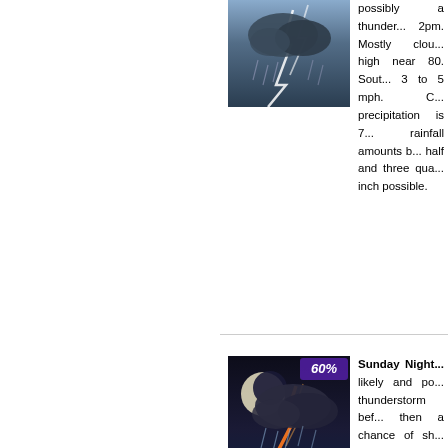[Figure (photo): Thunderstorm weather icon — dark stormy sky with lightning]
possibly a thunderstorm before 2pm. Mostly cloudy, with a high near 80. South wind 3 to 5 mph. Chance of precipitation is 70%. New rainfall amounts between a half and three quarters of an inch possible.
[Figure (photo): Night thunderstorm weather icon — dark sky with moon and orange lightning bolt, 60% badge]
Sunday Night... Showers likely and possibly a thunderstorm before 3am, then a chance of showers and thunderstorms after 3am. Mostly cloudy, with a low around 66. Light and variable wind. Chance of precipitation is 60%. New rainfall amounts between a tenth and a quarter of an inch, except higher amounts possible in thunderstorms.
[Figure (photo): Labor Day weather icon — partly cloudy with thunder, 70% badge]
Labor Day... A chance of showers and thunderstorms.